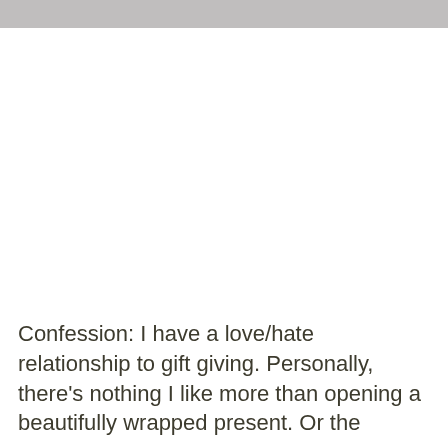Confession: I have a love/hate relationship to gift giving. Personally, there's nothing I like more than opening a beautifully wrapped present. Or the